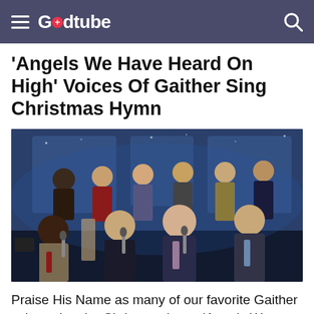Godtube
'Angels We Have Heard On High' Voices Of Gaither Sing Christmas Hymn
[Figure (photo): Group of people on a stage singing, appearing to be a Gaither Vocal Band Christmas performance. Multiple singers seated and standing with microphones under blue stage lighting.]
Praise His Name as many of our favorite Gaither voices sing the Christmas hymn 'Angels We Have Heard On High'.